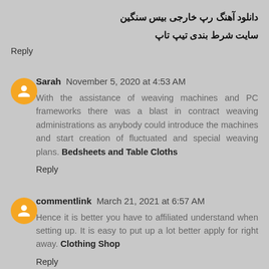دانلود آهنگ رپ خارجی بیس سنگین
سایت شرط بندی تیپ تاپ
Reply
Sarah  November 5, 2020 at 4:53 AM
With the assistance of weaving machines and PC frameworks there was a blast in contract weaving administrations as anybody could introduce the machines and start creation of fluctuated and special weaving plans. Bedsheets and Table Cloths
Reply
commentlink  March 21, 2021 at 6:57 AM
Hence it is better you have to affiliated understand when setting up. It is easy to put up a lot better apply for right away. Clothing Shop
Reply